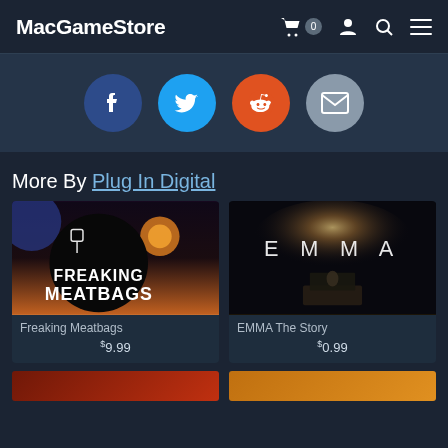MacGameStore
[Figure (screenshot): Social share buttons: Facebook (blue), Twitter (cyan), Reddit (orange), Email (grey)]
More By Plug In Digital
[Figure (screenshot): Game card: Freaking Meatbags - space-themed game image with cartoon art]
Freaking Meatbags
$9.99
[Figure (screenshot): Game card: EMMA The Story - cinematic dark atmospheric image with 'EMMA' text]
EMMA The Story
$0.99